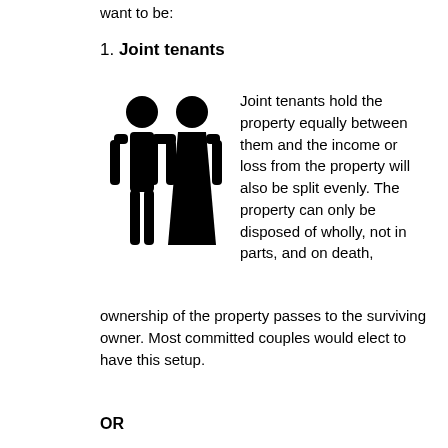want to be:
1. Joint tenants
[Figure (illustration): Two person silhouettes (male and female) holding hands, rendered in solid black]
Joint tenants hold the property equally between them and the income or loss from the property will also be split evenly. The property can only be disposed of wholly, not in parts, and on death, ownership of the property passes to the surviving owner. Most committed couples would elect to have this setup.
OR